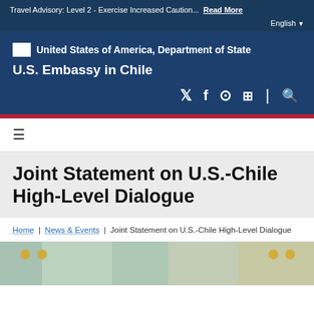Travel Advisory: Level 2 - Exercise Increased Caution...  Read More
English ▼
[Figure (logo): United States of America, Department of State seal/logo with U.S. Embassy in Chile text]
Joint Statement on U.S.-Chile High-Level Dialogue
Home | News & Events | Joint Statement on U.S.-Chile High-Level Dialogue
[Figure (photo): Partial photo of diplomats or official setting, decorative table visible]